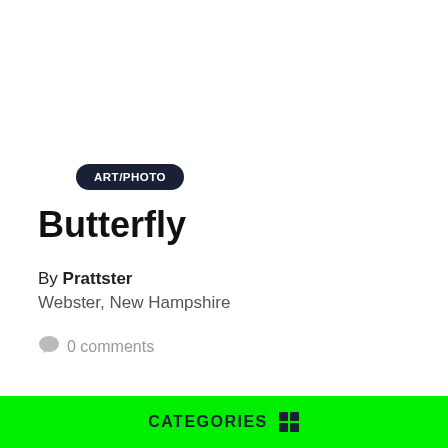ART/PHOTO
Butterfly
By Prattster
Webster, New Hampshire
0 comments
CATEGORIES